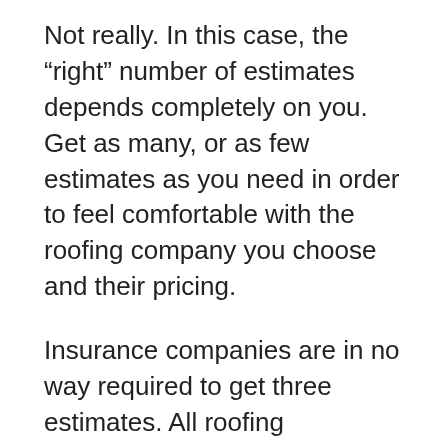Not really. In this case, the “right” number of estimates depends completely on you. Get as many, or as few estimates as you need in order to feel comfortable with the roofing company you choose and their pricing.
Insurance companies are in no way required to get three estimates. All roofing contractors receive payment following a third-party system designed to set industry standard prices. Your insurance company will pay your area’s best roofers in Albany the exact same amount as it pays the worst roofers in Albany. Gather as many estimates as you feel comfortable with and choose the best company, just as you would if you were footing